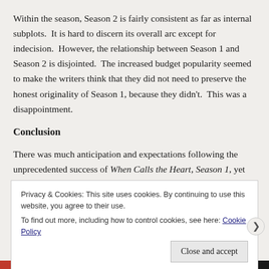Within the season, Season 2 is fairly consistent as far as internal subplots.  It is hard to discern its overall arc except for indecision.  However, the relationship between Season 1 and Season 2 is disjointed.  The increased budget popularity seemed to make the writers think that they did not need to preserve the honest originality of Season 1, because they didn't.  This was a disappointment.
Conclusion
There was much anticipation and expectations following the unprecedented success of When Calls the Heart, Season 1, yet Season 2 failed to meet these.  As a season itself, it was about average, and
Privacy & Cookies: This site uses cookies. By continuing to use this website, you agree to their use.
To find out more, including how to control cookies, see here: Cookie Policy
Close and accept